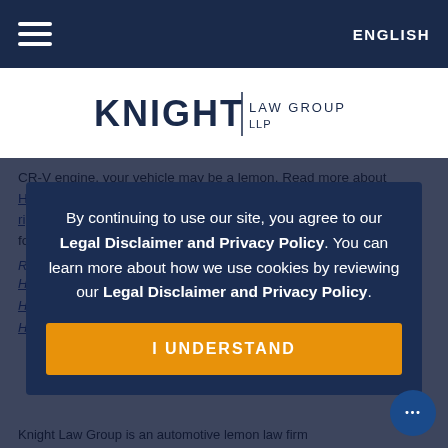ENGLISH
[Figure (logo): Knight Law Group LLP logo with vertical divider between KNIGHT and LAW GROUP LLP]
CR-V engine, your vehicle may be a lemon. Read more about Honda's engine oil dilution problem and your California Lemon Law rights. If you would like more information, complete the consultation form below to request a free consultation.
Related:
Honda CR-V Dreams and the Oil Problems Prompt Lawsuit
Honda Civic Engines' Oil Dilution Problem
Honda Accord and Oil Dilution Problems
By continuing to use our site, you agree to our Legal Disclaimer and Privacy Policy. You can learn more about how we use cookies by reviewing our Legal Disclaimer and Privacy Policy.
I UNDERSTAND
Knight Law Group is an automotive lemon law firm